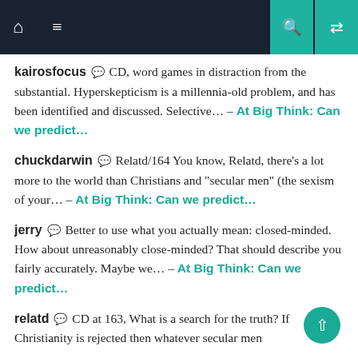Navigation bar with home, menu, search, and shuffle icons
kairosfocus 💬 CD, word games in distraction from the substantial. Hyperskepticism is a millennia-old problem, and has been identified and discussed. Selective… – At Big Think: Can we predict...
chuckdarwin 💬 Relatd/164 You know, Relatd, there's a lot more to the world than Christians and "secular men" (the sexism of your… – At Big Think: Can we predict...
jerry 💬 Better to use what you actually mean: closed-minded. How about unreasonably close-minded? That should describe you fairly accurately. Maybe we… – At Big Think: Can we predict...
relatd 💬 CD at 163, What is a search for the truth? If Christianity is rejected then whatever secular men